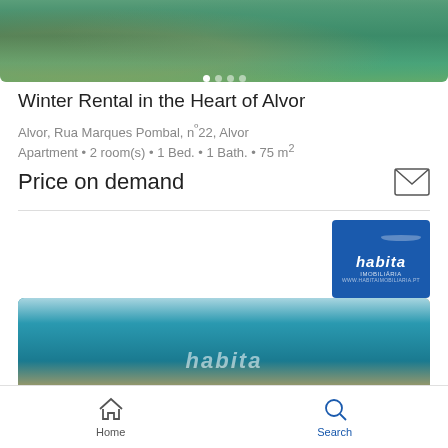[Figure (photo): Aerial/coastal photo showing rocky cliffs and turquoise sea water, top section of listing carousel]
Winter Rental in the Heart of Alvor
Alvor, Rua Marques Pombal, nº22, Alvor
Apartment • 2 room(s) • 1 Bed. • 1 Bath. • 75 m²
Price on demand
[Figure (logo): Habita Imobiliária logo — blue square with white arc/home graphic and 'habita' text]
[Figure (photo): Coastal cliffs photo with turquoise sea, Algarve coast, with 'habita' watermark overlay]
Home
Search